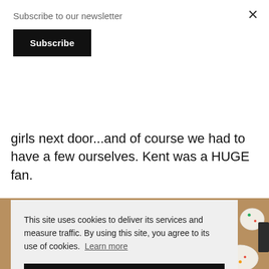Subscribe to our newsletter
Subscribe
girls next door...and of course we had to have a few ourselves. Kent was a HUGE fan.
[Figure (photo): Decorated animal-shaped cookies covered in white chocolate and colorful sprinkles on a burlap surface.]
This site uses cookies to deliver its services and measure traffic. By using this site, you agree to its use of cookies. Learn more
Got it!